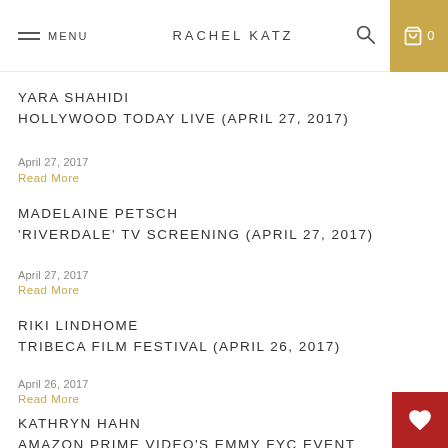MENU | RACHEL KATZ | 0
YARA SHAHIDI
HOLLYWOOD TODAY LIVE (APRIL 27, 2017)
April 27, 2017
Read More
MADELAINE PETSCH
'RIVERDALE' TV SCREENING (APRIL 27, 2017)
April 27, 2017
Read More
RIKI LINDHOME
TRIBECA FILM FESTIVAL (APRIL 26, 2017)
April 26, 2017
Read More
KATHRYN HAHN
AMAZON PRIME VIDEO'S EMMY FYC EVENT AND